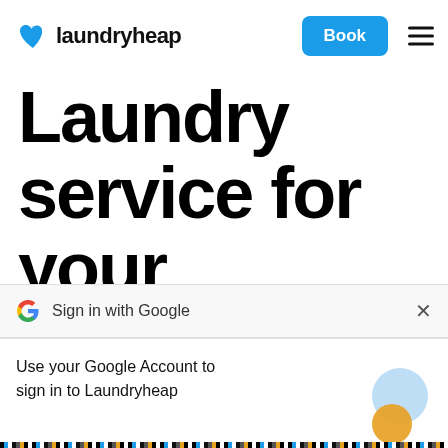[Figure (logo): Laundryheap logo: blue heart icon followed by bold text 'laundryheap']
[Figure (screenshot): Blue 'Book' button and hamburger menu icon in the top navigation bar]
Laundry service for your
[Figure (screenshot): Google Sign in bar: Google G logo, 'Sign in with Google' text, and X close button]
Use your Google Account to sign in to Laundryheap